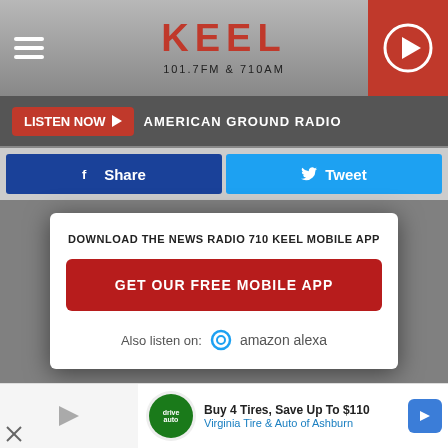KEEL 101.7FM & 710AM
LISTEN NOW ▶  AMERICAN GROUND RADIO
Share  Tweet
DOWNLOAD THE NEWS RADIO 710 KEEL MOBILE APP
GET OUR FREE MOBILE APP
Also listen on: amazon alexa
WARRAN FAILURE TO APPEAR
WARR...
Buy 4 Tires, Save Up To $110  Virginia Tire & Auto of Ashburn